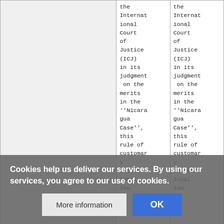|  |  |  |
| --- | --- | --- |
|  | the International Court of Justice (ICJ) in its judgment on the merits in the ''Nicaragua Case'', this rule of customary international law | the International Court of Justice (ICJ) in its judgment on the merits in the ''Nicaragua Case'', this rule of customary international law |
Cookies help us deliver our services. By using our services, you agree to our use of cookies.